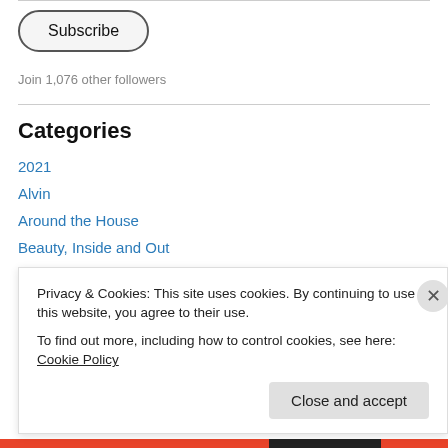Subscribe
Join 1,076 other followers
Categories
2021
Alvin
Around the House
Beauty, Inside and Out
COUNTDOWN: 60 Days to 60
Privacy & Cookies: This site uses cookies. By continuing to use this website, you agree to their use.
To find out more, including how to control cookies, see here: Cookie Policy
Close and accept